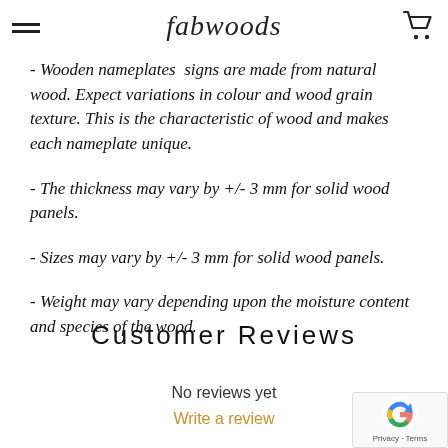fabwoods
- Wooden nameplates signs are made from natural wood. Expect variations in colour and wood grain texture. This is the characteristic of wood and makes each nameplate unique.
- The thickness may vary by +/- 3 mm for solid wood panels.
- Sizes may vary by +/- 3 mm for solid wood panels.
- Weight may vary depending upon the moisture content and species of the wood.
Customer Reviews
No reviews yet
Write a review